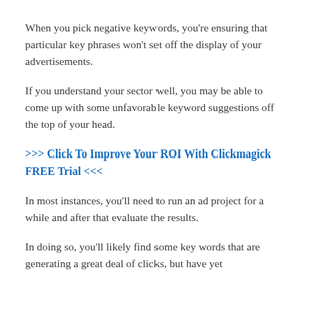When you pick negative keywords, you're ensuring that particular key phrases won't set off the display of your advertisements.
If you understand your sector well, you may be able to come up with some unfavorable keyword suggestions off the top of your head.
>>> Click To Improve Your ROI With Clickmagick FREE Trial <<<
In most instances, you'll need to run an ad project for a while and after that evaluate the results.
In doing so, you'll likely find some key words that are generating a great deal of clicks, but have yet